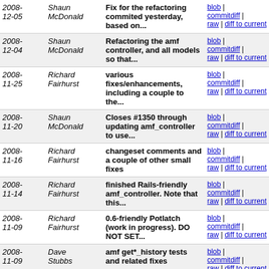| Date | Author | Message | Links |
| --- | --- | --- | --- |
| 2008-12-05 | Shaun McDonald | Fix for the refactoring commited yesterday, based on... | blob | commitdiff | raw | diff to current |
| 2008-12-04 | Shaun McDonald | Refactoring the amf controller, and all models so that... | blob | commitdiff | raw | diff to current |
| 2008-11-25 | Richard Fairhurst | various fixes/enhancements, including a couple to the... | blob | commitdiff | raw | diff to current |
| 2008-11-20 | Shaun McDonald | Closes #1350 through updating amf_controller to use... | blob | commitdiff | raw | diff to current |
| 2008-11-16 | Richard Fairhurst | changeset comments and a couple of other small fixes | blob | commitdiff | raw | diff to current |
| 2008-11-14 | Richard Fairhurst | finished Rails-friendly amf_controller. Note that this... | blob | commitdiff | raw | diff to current |
| 2008-11-09 | Richard Fairhurst | 0.6-friendly Potlatch (work in progress). DO NOT SET... | blob | commitdiff | raw | diff to current |
| 2008-11-09 | Dave Stubbs | amf get*_history tests and related fixes | blob | commitdiff | raw | diff to current |
| 2008-11-09 | Dave Stubbs | a few more amf tests and associated bug fixes | blob | commitdiff | raw | diff to current |
| 2008-11-08 | Dave Stubbs | 1st amf_controller tests, and some basic sanity check... | blob | commitdiff | raw | diff to current |
| 2008- | Shaun | Resyncing from head 10895:11795 | blob | |